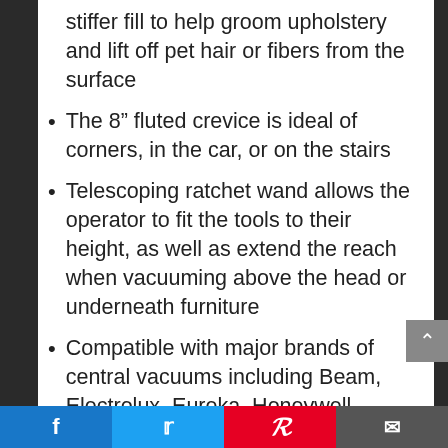stiffer fill to help groom upholstery and lift off pet hair or fibers from the surface
The 8” fluted crevice is ideal of corners, in the car, or on the stairs
Telescoping ratchet wand allows the operator to fit the tools to their height, as well as extend the reach when vacuuming above the head or underneath furniture
Compatible with major brands of central vacuums including Beam, Electrolux, Eureka, Honeywell, Vacumaid, Nutone, Canavac,